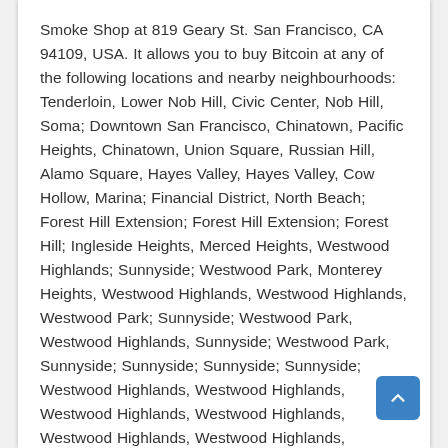Smoke Shop at 819 Geary St. San Francisco, CA 94109, USA. It allows you to buy Bitcoin at any of the following locations and nearby neighbourhoods: Tenderloin, Lower Nob Hill, Civic Center, Nob Hill, Soma; Downtown San Francisco, Chinatown, Pacific Heights, Chinatown, Union Square, Russian Hill, Alamo Square, Hayes Valley, Hayes Valley, Cow Hollow, Marina; Financial District, North Beach; Forest Hill Extension; Forest Hill Extension; Forest Hill; Ingleside Heights, Merced Heights, Westwood Highlands; Sunnyside; Westwood Park, Monterey Heights, Westwood Highlands, Westwood Highlands, Westwood Park; Sunnyside; Westwood Park, Westwood Highlands, Sunnyside; Westwood Park, Sunnyside; Sunnyside; Sunnyside; Sunnyside; Westwood Highlands, Westwood Highlands, Westwood Highlands, Westwood Highlands, Westwood Highlands, Westwood Highlands, Westwood Highlands, Monterey Heights, Westwood